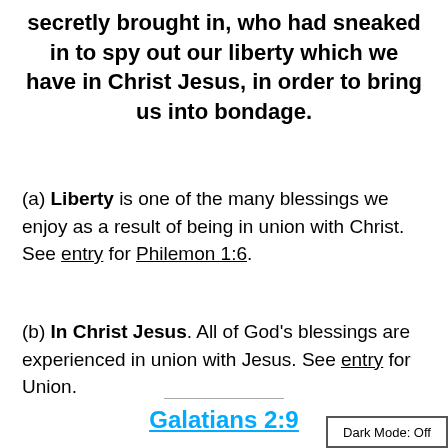secretly brought in, who had sneaked in to spy out our liberty which we have in Christ Jesus, in order to bring us into bondage.
(a) Liberty is one of the many blessings we enjoy as a result of being in union with Christ. See entry for Philemon 1:6.
(b) In Christ Jesus. All of God’s blessings are experienced in union with Jesus. See entry for Union.
Galatians 2:9
Dark Mode: Off